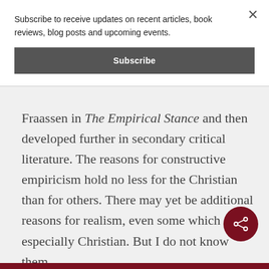Subscribe to receive updates on recent articles, book reviews, blog posts and upcoming events.
Subscribe
Fraassen in The Empirical Stance and then developed further in secondary critical literature. The reasons for constructive empiricism hold no less for the Christian than for others. There may yet be additional reasons for realism, even some which are especially Christian. But I do not know them.